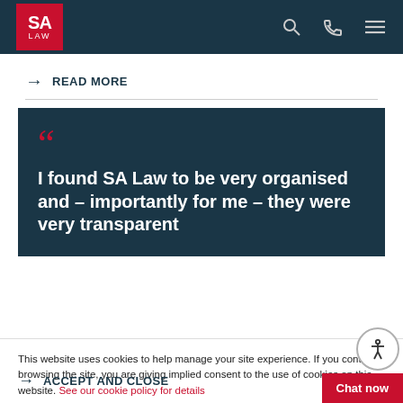SA LAW
→ READ MORE
[Figure (illustration): Dark teal quote block with large red opening quotation mark and white bold text: I found SA Law to be very organised and – importantly for me – they were very transparent]
This website uses cookies to help manage your site experience. If you continue browsing the site, you are giving implied consent to the use of cookies on this website. See our cookie policy for details
→ ACCEPT AND CLOSE